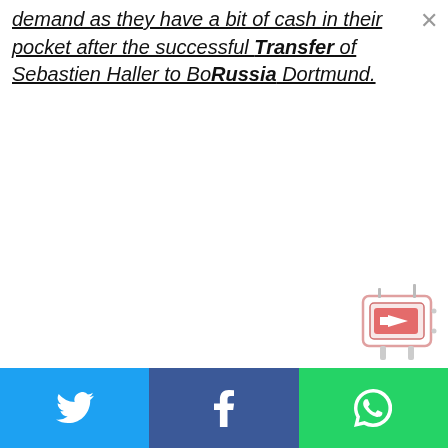demand as they have a bit of cash in their pocket after the successful Transfer of Sebastien Haller to BoRussia Dortmund.
[Figure (illustration): Cartoon mascot character resembling a TV/robot with a red arrow sign, pointing right]
[Figure (infographic): Social share bar with Twitter (blue), Facebook (dark blue), and WhatsApp (green) buttons at the bottom of the page]